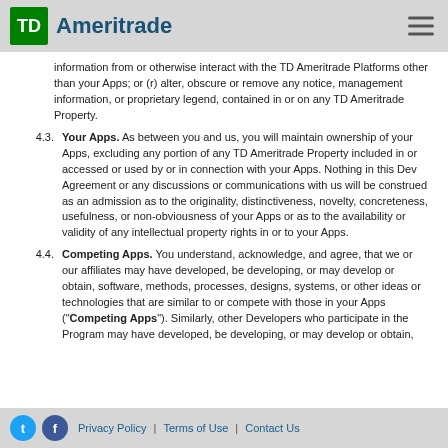TD Ameritrade
information from or otherwise interact with the TD Ameritrade Platforms other than your Apps; or (r) alter, obscure or remove any notice, management information, or proprietary legend, contained in or on any TD Ameritrade Property.
4.3. Your Apps. As between you and us, you will maintain ownership of your Apps, excluding any portion of any TD Ameritrade Property included in or accessed or used by or in connection with your Apps. Nothing in this Dev Agreement or any discussions or communications with us will be construed as an admission as to the originality, distinctiveness, novelty, concreteness, usefulness, or non-obviousness of your Apps or as to the availability or validity of any intellectual property rights in or to your Apps.
4.4. Competing Apps. You understand, acknowledge, and agree, that we or our affiliates may have developed, be developing, or may develop or obtain, software, methods, processes, designs, systems, or other ideas or technologies that are similar to or compete with those in your Apps (“Competing Apps”). Similarly, other Developers who participate in the Program may have developed, be developing, or may develop or obtain,
Privacy Policy | Terms of Use | Contact Us